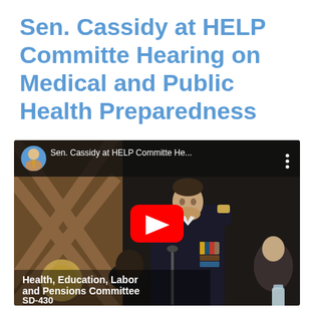Sen. Cassidy at HELP Committe Hearing on Medical and Public Health Preparedness
[Figure (screenshot): YouTube video thumbnail showing a military/naval officer in dark uniform with medals at a Senate hearing. The video title bar at top reads 'Sen. Cassidy at HELP Committe He...' with a circular avatar of Sen. Cassidy. A red YouTube play button is centered on the image. Bottom-left overlay text reads 'Health, Education, Labor and Pensions Committee SD-430'.]